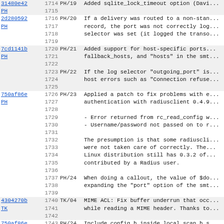| hash | line | tag | description |
| --- | --- | --- | --- |
| 31480e42 PH | 1714 | PH/19 | Added sqlite_lock_timeout option (Davi... |
|  | 1715 |  |  |
| 2d280592 PH | 1716 | PH/20 | If a delivery was routed to a non-stan... |
|  | 1717 |  | record, the port was not correctly log... |
|  | 1718 |  | selector was set (it logged the transo... |
|  | 1719 |  |  |
| 7cd1141b PH | 1720 | PH/21 | Added support for host-specific ports... |
|  | 1721 |  | fallback_hosts, and "hosts" in the smt... |
|  | 1722 |  |  |
|  | 1723 | PH/22 | If the log selector "outgoing_port" is... |
|  | 1724 |  | host errors such as "Connection refuse... |
|  | 1725 |  |  |
| 750af86e PH | 1726 | PH/23 | Applied a patch to fix problems with e... |
|  | 1727 |  | authentication with radiusclient 0.4.9... |
|  | 1728 |  |  |
|  | 1729 |  | - Error returned from rc_read_config w... |
|  | 1730 |  | - Username/password not passed on to r... |
|  | 1731 |  |  |
|  | 1732 |  | The presumption is that some radiuscli... |
|  | 1733 |  | were not taken care of correctly. The... |
|  | 1734 |  | Linux distribution still has 0.3.2 of... |
|  | 1735 |  | contributed by a Radius user. |
|  | 1736 |  |  |
|  | 1737 | PH/24 | When doing a callout, the value of $do... |
|  | 1738 |  | expanding the "port" option of the smt... |
|  | 1739 |  |  |
| 4304270b TK | 1740 | TK/04 | MIME ACL: Fix buffer underrun that occ... |
|  | 1741 |  | while reading a MIME header. Thanks to... |
|  | 1742 |  |  |
| 750af86e PH | 1743 | PH/24 | Include config.h inside local_scan.h s... |
|  | 1744 |  | available. |
|  | 1745 |  |  |
| 64ffe24f | 1746 | PH/25 | Make $smtp_command_argument available... |